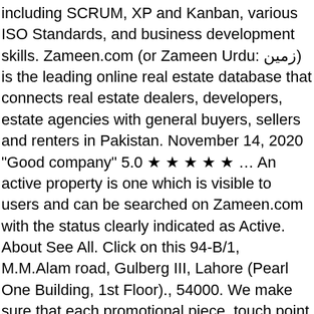including SCRUM, XP and Kanban, various ISO Standards, and business development skills. Zameen.com (or Zameen Urdu: زمین) is the leading online real estate database that connects real estate dealers, developers, estate agencies with general buyers, sellers and renters in Pakistan. November 14, 2020 "Good company" 5.0 ★ ★ ★ ★ ★ … An active property is one which is visible to users and can be searched on Zameen.com with the status clearly indicated as Active. About See All. Click on this 94-B/1, M.M.Alam road, Gulberg III, Lahore (Pearl One Building, 1st Floor)., 54000. We make sure that each promotional piece, touch point and every usage of your name, logo and message supports your organization and your goals. Zameen.com is a one stop Pakistan property resource, where you can find all kinds of Pakistani prope... See More. Price Range … Imran Ali Khan is the Chief Operating Officer of Zameen.com, which he co-founded with his brother Zeeshan Ali Khan in 2006. Lancaster University. credit will be deducted automatically from your quota of hot listings. Institute of Management Sciences, Lahore The Institute of Management